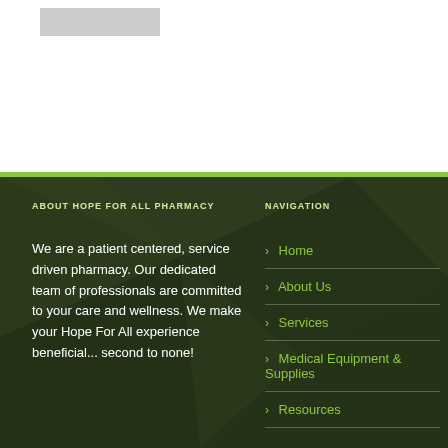[Figure (logo): Gray logo placeholder bar in top white section]
ABOUT HOPE FOR ALL PHARMACY
We are a patient centered, service driven pharmacy. Our dedicated team of professionals are committed to your care and wellness. We make your Hope For All experience beneficial... second to none!
NAVIGATION
Home
About Us
Services
Medical Equipment & Supplies
Resources